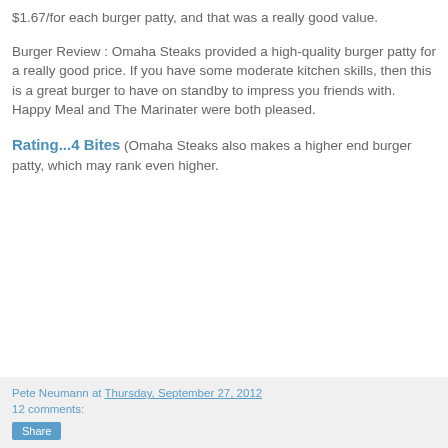$1.67/for each burger patty, and that was a really good value.
Burger Review : Omaha Steaks provided a high-quality burger patty for a really good price. If you have some moderate kitchen skills, then this is a great burger to have on standby to impress you friends with. Happy Meal and The Marinater were both pleased.
Rating...4 Bites (Omaha Steaks also makes a higher end burger patty, which may rank even higher.
Pete Neumann at Thursday, September 27, 2012
12 comments: